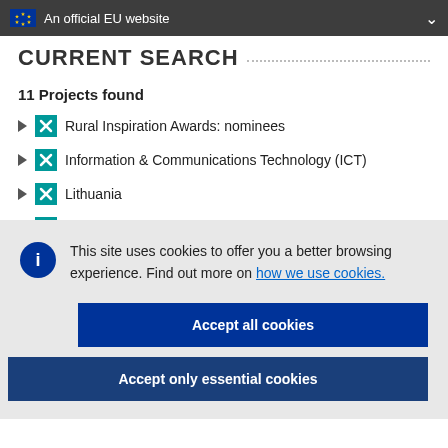An official EU website
CURRENT SEARCH
11 Projects found
Rural Inspiration Awards: nominees
Information & Communications Technology (ICT)
Lithuania
This site uses cookies to offer you a better browsing experience. Find out more on how we use cookies.
Accept all cookies
Accept only essential cookies